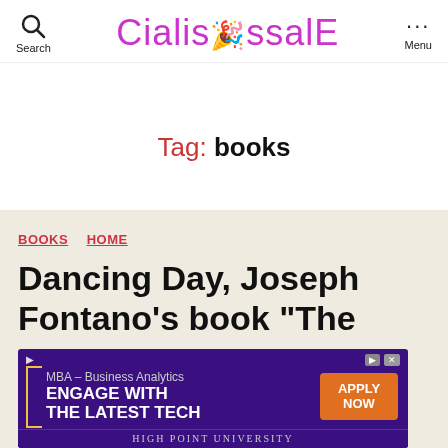Search | CialisSssalE | Menu
Tag: books
BOOKS  HOME
Dancing Day, Joseph Fontano's book "The
[Figure (screenshot): Advertisement banner for MBA – Business Analytics program at High Point University. Purple background with orange 'APPLY NOW' button. Text: 'MBA – Business Analytics ENGAGE WITH THE LATEST TECH'. Bottom text: HIGH POINT UNIVERSITY]